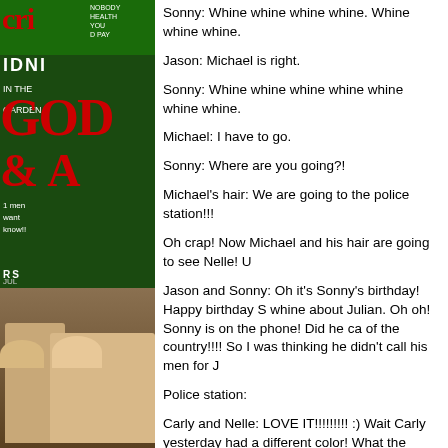[Figure (photo): Partial magazine cover visible on left side of page, showing a red and green themed magazine with text 'cri', 'MIDNIGHT IN THE GARDEN', 'GOO', '& A', and bottom photo of two people.]
Sonny: Whine whine whine whine. Whine whine whine.
Jason: Michael is right.
Sonny: Whine whine whine whine whine whine whine.
Michael: I have to go.
Sonny: Where are you going?!
Michael's hair: We are going to the police station!!!
Oh crap! Now Michael and his hair are going to see Nelle! U
Jason and Sonny: Oh it's Sonny's birthday! Happy birthday S whine about Julian. Oh oh! Sonny is on the phone! Did he ca of the country!!!! So I was thinking he didn't call his men for J
Police station:
Carly and Nelle: LOVE IT!!!!!!!!! :) Wait Carly yesterday had a different color! What the heck?!!?! Why?!
Nelle and Michael: Oh!!!!! Trying to pay Nelle off hahahaha lo
Q mansion: